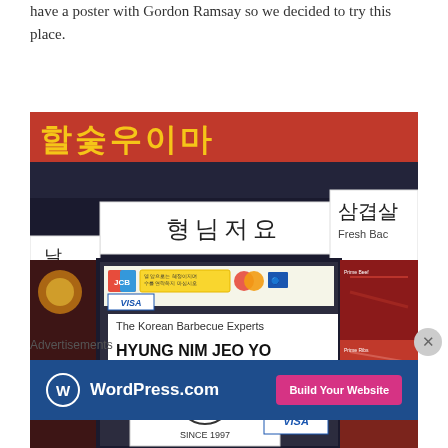have a poster with Gordon Ramsay so we decided to try this place.
[Figure (photo): Exterior photo of Hyung Nim Jeo Yo Korean Barbecue restaurant showing signage in Korean and English, credit card stickers, a circular logo with 'SINCE 1997', and meat display panels.]
Advertisements
[Figure (other): WordPress.com advertisement banner with 'Build Your Website' button]